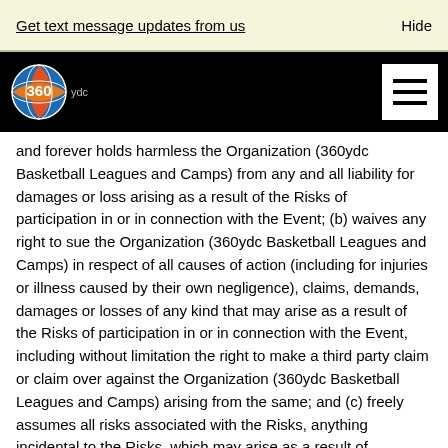Get text message updates from us    Hide
[Figure (logo): 360ydc Basketball Leagues and Camps logo with globe graphic on black navigation bar, hamburger menu icon on right]
and forever holds harmless the Organization (360ydc Basketball Leagues and Camps) from any and all liability for damages or loss arising as a result of the Risks of participation in or in connection with the Event; (b) waives any right to sue the Organization (360ydc Basketball Leagues and Camps) in respect of all causes of action (including for injuries or illness caused by their own negligence), claims, demands, damages or losses of any kind that may arise as a result of the Risks of participation in or in connection with the Event, including without limitation the right to make a third party claim or claim over against the Organization (360ydc Basketball Leagues and Camps) arising from the same; and (c) freely assumes all risks associated with the Risks, anything incidental to the Risks, which may arise as a result of participation in or in connection with the Event. YOU ARE GIVING UP LEGAL RIGHTS TO ANY AND ALL FUTURE